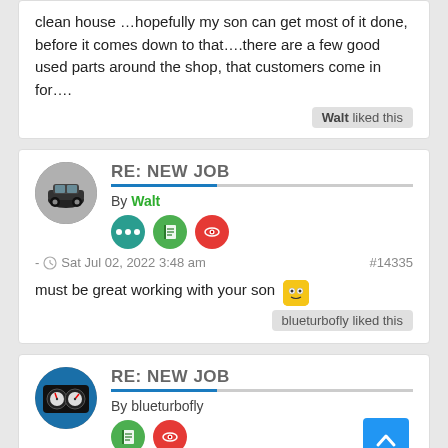clean house …hopefully my son can get most of it done, before it comes down to that….there are a few good used parts around the shop, that customers come in for….
Walt liked this
RE: NEW JOB
By Walt
Sat Jul 02, 2022 3:48 am   #14335
must be great working with your son 😎
blueturbofly liked this
RE: NEW JOB
By blueturbofly